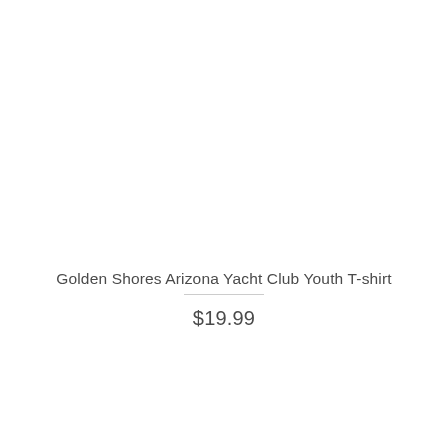Golden Shores Arizona Yacht Club Youth T-shirt
$19.99